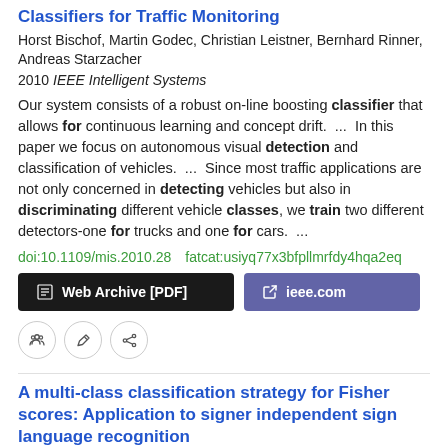Classifiers for Traffic Monitoring
Horst Bischof, Martin Godec, Christian Leistner, Bernhard Rinner, Andreas Starzacher
2010 IEEE Intelligent Systems
Our system consists of a robust on-line boosting classifier that allows for continuous learning and concept drift. ... In this paper we focus on autonomous visual detection and classification of vehicles. ... Since most traffic applications are not only concerned in detecting vehicles but also in discriminating different vehicle classes, we train two different detectors-one for trucks and one for cars. ...
doi:10.1109/mis.2010.28   fatcat:usiyq77x3bfpllmrfdy4hqa2eq
[Figure (other): Web Archive [PDF] and ieee.com buttons, plus quote/edit/link action icon buttons]
A multi-class classification strategy for Fisher scores: Application to signer independent sign language recognition
Oya Aran, Lale Akarun
2010 Pattern Recognition